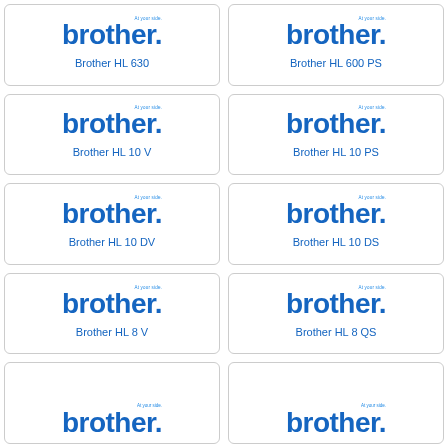[Figure (logo): Brother logo with tagline]
Brother HL 630
[Figure (logo): Brother logo with tagline]
Brother HL 600 PS
[Figure (logo): Brother logo with tagline]
Brother HL 10 V
[Figure (logo): Brother logo with tagline]
Brother HL 10 PS
[Figure (logo): Brother logo with tagline]
Brother HL 10 DV
[Figure (logo): Brother logo with tagline]
Brother HL 10 DS
[Figure (logo): Brother logo with tagline]
Brother HL 8 V
[Figure (logo): Brother logo with tagline]
Brother HL 8 QS
[Figure (logo): Brother logo with tagline (partial)]
[Figure (logo): Brother logo with tagline (partial)]